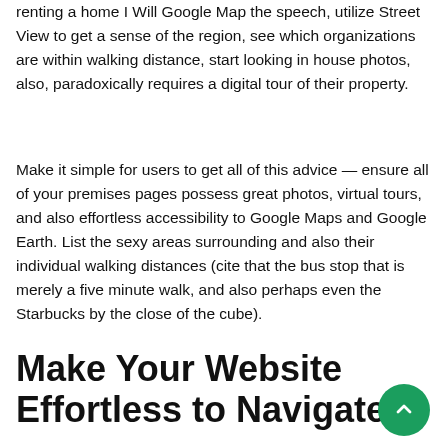renting a home I Will Google Map the speech, utilize Street View to get a sense of the region, see which organizations are within walking distance, start looking in house photos, also, paradoxically requires a digital tour of their property.
Make it simple for users to get all of this advice — ensure all of your premises pages possess great photos, virtual tours, and also effortless accessibility to Google Maps and Google Earth. List the sexy areas surrounding and also their individual walking distances (cite that the bus stop that is merely a five minute walk, and also perhaps even the Starbucks by the close of the cube).
Make Your Website Effortless to Navigate